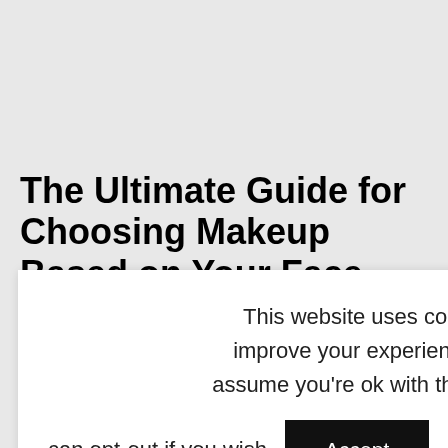The Ultimate Guide for Choosing Makeup Based on Your Face
This website uses cookies to improve your experience. We'll assume you're ok with this, but you can opt-out if you wish. Accept Reject Read More